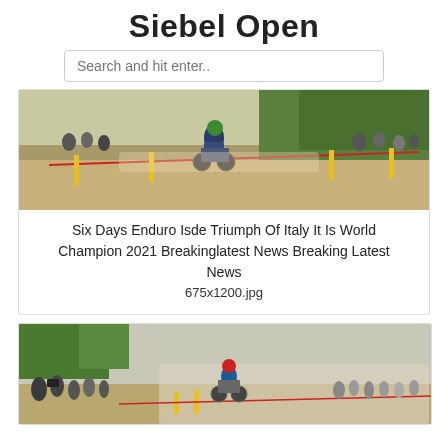Siebel Open
Search and hit enter..
[Figure (photo): Motocross/enduro riders on a dirt hillside track with crowd watching, yellow posts and red rope barriers visible, dusty conditions]
Six Days Enduro Isde Triumph Of Italy It Is World Champion 2021 Breakinglatest News Breaking Latest News
675x1200.jpg
[Figure (photo): Enduro motorcycle racer in blue Italy jersey riding through dusty track with crowd of spectators lining the sides, yellow posts visible]